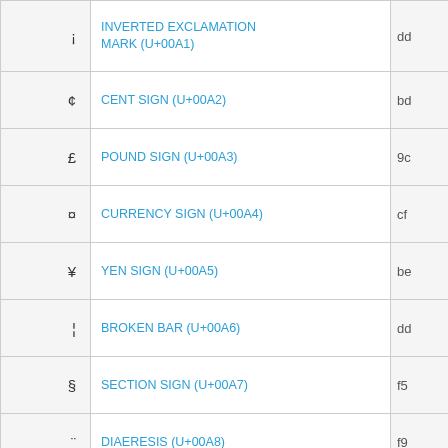| Symbol | Name | Code |
| --- | --- | --- |
| ¡ | INVERTED EXCLAMATION MARK (U+00A1) | dd |
| ¢ | CENT SIGN (U+00A2) | bd |
| £ | POUND SIGN (U+00A3) | 9c |
| ¤ | CURRENCY SIGN (U+00A4) | cf |
| ¥ | YEN SIGN (U+00A5) | be |
| ¦ | BROKEN BAR (U+00A6) | dd |
| § | SECTION SIGN (U+00A7) | f5 |
| ¨ | DIAERESIS (U+00A8) | f9 |
| © | COPYRIGHT SIGN (U+00A9) | b8 |
| ª | FEMININE ORDINAL INDICATOR (U+00AA) | a6 |
| « | LEFT-POINTING DOUBLE ANGLE QUOTATION MARK (U+00AB) | ae |